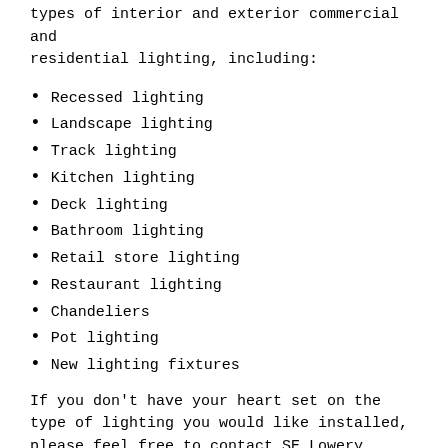types of interior and exterior commercial and residential lighting, including:
Recessed lighting
Landscape lighting
Track lighting
Kitchen lighting
Deck lighting
Bathroom lighting
Retail store lighting
Restaurant lighting
Chandeliers
Pot lighting
New lighting fixtures
If you don't have your heart set on the type of lighting you would like installed, please feel free to contact SE Lowery Electric to discuss